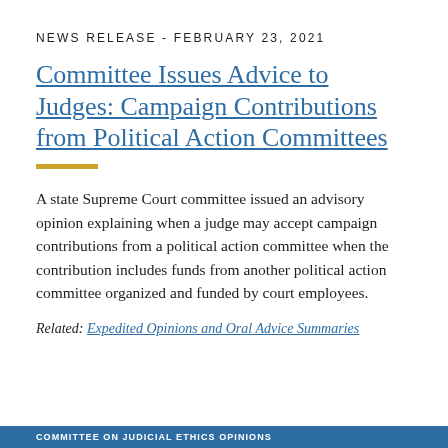NEWS RELEASE - FEBRUARY 23, 2021
Committee Issues Advice to Judges: Campaign Contributions from Political Action Committees
A state Supreme Court committee issued an advisory opinion explaining when a judge may accept campaign contributions from a political action committee when the contribution includes funds from another political action committee organized and funded by court employees.
Related: Expedited Opinions and Oral Advice Summaries
COMMITTEE ON JUDICIAL ETHICS OPINIONS